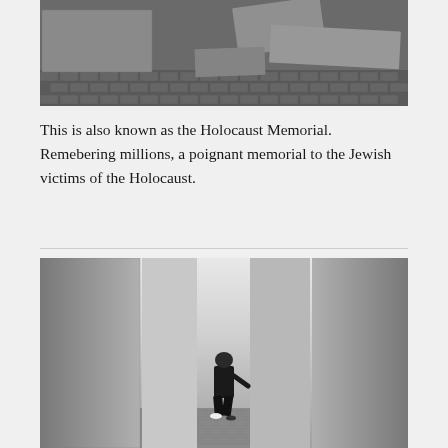[Figure (photo): Overhead or angled view of Holocaust Memorial concrete slab structures on a cobblestone surface, grayscale/color photo.]
This is also known as the Holocaust Memorial. Remebering millions, a poignant memorial to the Jewish victims of the Holocaust.
[Figure (photo): Black and white photo of a person walking between tall concrete slabs at the Holocaust Memorial in Berlin, viewed from behind.]